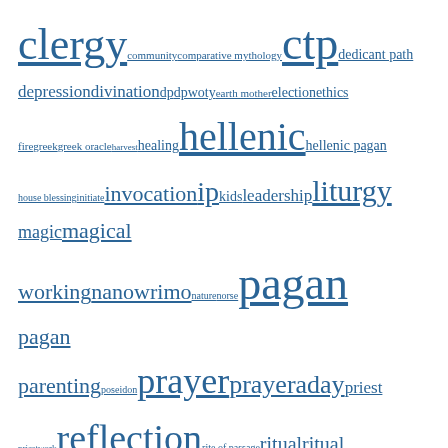[Figure (infographic): Tag cloud with various pagan/spiritual/religious terms in different font sizes and blue linked style]
ADF Priest Blogs & Websites
Rev. Amber Doty Wander the Wheel
Rev. Amber Ferrebee
Rev. Chelly Couvrette Vision and Memory
Rev. Crystal Groves
Rev. David Barron The World Through a Druid's Point of View
Rev. Diane Cacciato